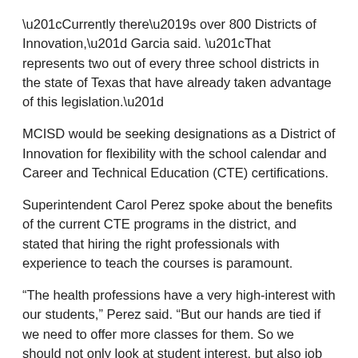“Currently there’s over 800 Districts of Innovation,” Garcia said. “That represents two out of every three school districts in the state of Texas that have already taken advantage of this legislation.”
MCISD would be seeking designations as a District of Innovation for flexibility with the school calendar and Career and Technical Education (CTE) certifications.
Superintendent Carol Perez spoke about the benefits of the current CTE programs in the district, and stated that hiring the right professionals with experience to teach the courses is paramount.
“The health professions have a very high-interest with our students,” Perez said. “But our hands are tied if we need to offer more classes for them. So we should not only look at student interest, but also job markets.”
Following the approval of the resolution, the board appointed the district’s Educational Improvement Council to develop a Local Innovation Plan for MCISD. The La Joya Independent School District and Sharyland Independent School District are both already Districts of Innovation.
During the board meeting, a report was also presented regarding an